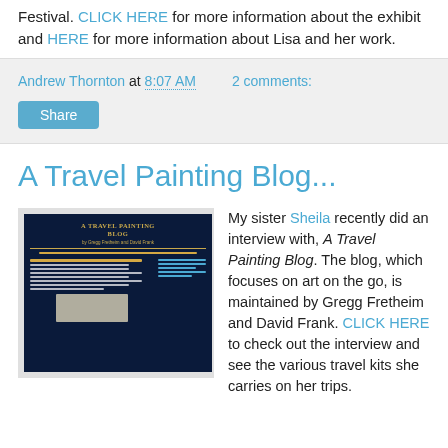Festival. CLICK HERE for more information about the exhibit and HERE for more information about Lisa and her work.
Andrew Thornton at 8:07 AM   2 comments:
Share
A Travel Painting Blog...
[Figure (screenshot): Screenshot of A Travel Painting Blog website with dark navy background and gold/yellow text, showing blog post content and a small image of art supplies]
My sister Sheila recently did an interview with, A Travel Painting Blog. The blog, which focuses on art on the go, is maintained by Gregg Fretheim and David Frank. CLICK HERE to check out the interview and see the various travel kits she carries on her trips.